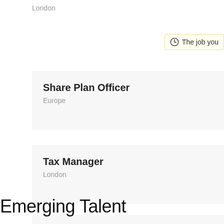London
The job you
Share Plan Officer
Europe
Tax Manager
London
US Compliance Officer
Chicago
Emerging Talent